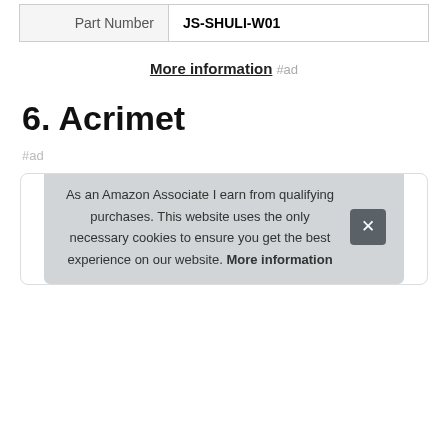| Part Number | JS-SHULI-W01 |
More information #ad
6. Acrimet
#ad
As an Amazon Associate I earn from qualifying purchases. This website uses the only necessary cookies to ensure you get the best experience on our website. More information